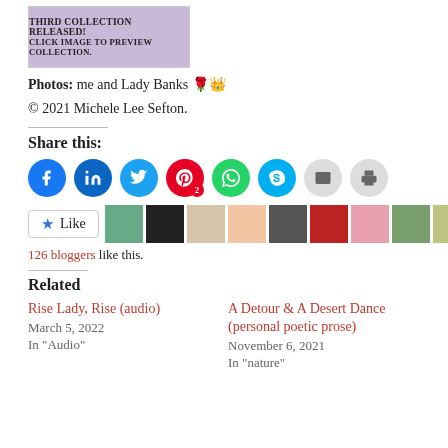[Figure (illustration): Purple banner image with text 'THIRD COLLECTION RELEASED! CLICK IMAGE TO PREVIEW COLLECTION.']
Photos: me and Lady Banks 🌹👑
© 2021 Michele Lee Sefton.
Share this:
[Figure (other): Row of social media share buttons: Facebook, LinkedIn, Twitter, Pinterest (with badge 2), WhatsApp, Skype, Email, Print]
[Figure (other): Like button and row of blogger avatars]
126 bloggers like this.
Related
Rise Lady, Rise (audio)
March 5, 2022
In "Audio"
A Detour & A Desert Dance (personal poetic prose)
November 6, 2021
In "nature"